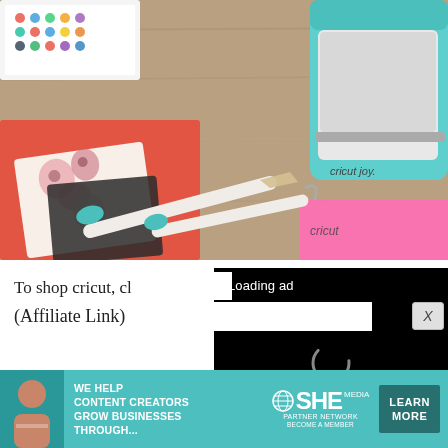[Figure (photo): Photo of Cricut Joy crafting machine with tools, floral paper, and pink cardstock on a wooden table background]
[Figure (screenshot): Video player overlay showing 'Loading ad' text with spinning loading indicator and playback controls (pause, fullscreen, mute) on black background]
To shop cricut, cl
(Affiliate Link)
[Figure (infographic): SHE Media Partner Network advertisement banner: 'WE HELP CONTENT CREATORS GROW BUSINESSES THROUGH...' with LEARN MORE button]